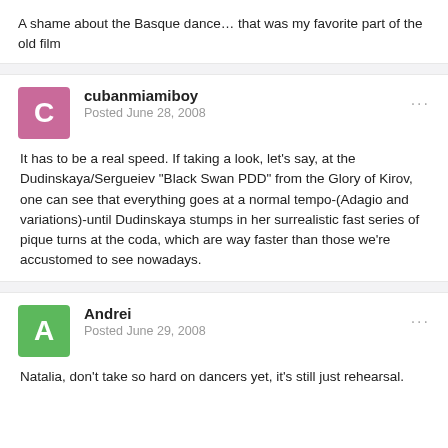A shame about the Basque dance… that was my favorite part of the old film
cubanmiamiboy
Posted June 28, 2008
It has to be a real speed. If taking a look, let's say, at the Dudinskaya/Sergueiev "Black Swan PDD" from the Glory of Kirov, one can see that everything goes at a normal tempo-(Adagio and variations)-until Dudinskaya stumps in her surrealistic fast series of pique turns at the coda, which are way faster than those we're accustomed to see nowadays.
Andrei
Posted June 29, 2008
Natalia, don't take so hard on dancers yet, it's still just rehearsal.